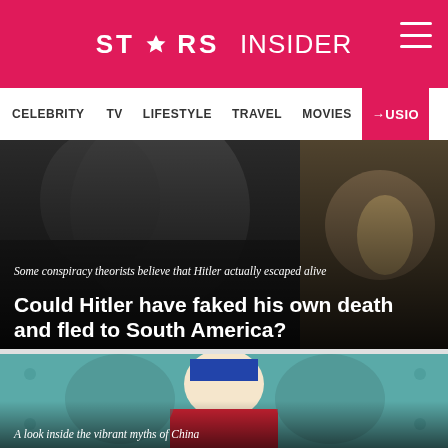STARS INSIDER
CELEBRITY  TV  LIFESTYLE  TRAVEL  MOVIES  MUSIC
[Figure (photo): Black and white photo of a person alongside a globe image; article card with caption and title overlay]
Some conspiracy theorists believe that Hitler actually escaped alive
Could Hitler have faked his own death and fled to South America?
[Figure (photo): Colorful painting of a Chinese emperor figure in traditional attire with decorative background]
A look inside the vibrant myths of China